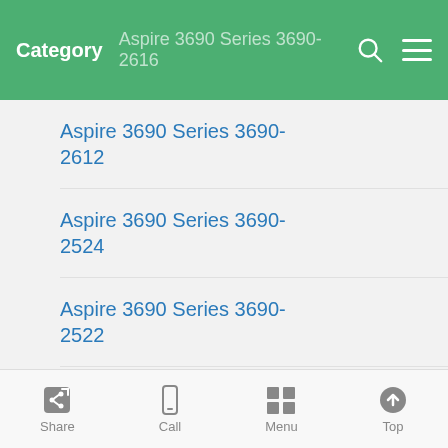Category — Aspire 3690 Series 3690-2616
Aspire 3690 Series 3690-2612
Aspire 3690 Series 3690-2524
Aspire 3690 Series 3690-2522
Aspire 3690 Series 3690-2519
Aspire 3690 Series 3690-2518
Aspire 3690 Series 3690-
Share  Call  Menu  Top